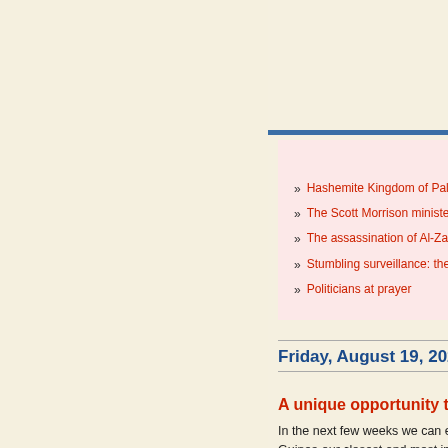Today's Most Popular Articles
Hashemite Kingdom of Palestine: interview with author Ali Shihabi
The Scott Morrison ministerial appointment saga: A case of political theatrics
The assassination of Al-Zawahiri may not have been a good idea
Stumbling surveillance: the end of the COVIDSafe app
Politicians at prayer
Friday, August 19, 2022
A unique opportunity to restructure our relati...
In the next few weeks we can expect the Foreign Minis... Guinea our closest and most important regional neighb...
International - Jeffrey Wall - 9 comments